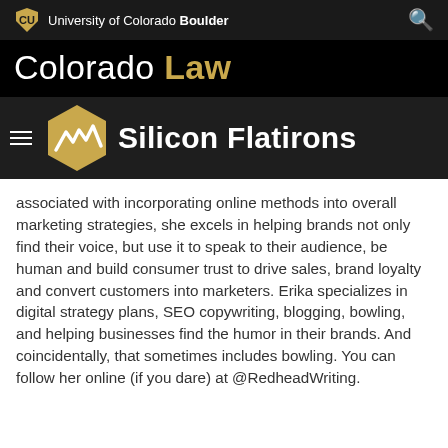University of Colorado Boulder
Colorado Law
[Figure (logo): Silicon Flatirons logo with hexagon icon and text]
associated with incorporating online methods into overall marketing strategies, she excels in helping brands not only find their voice, but use it to speak to their audience, be human and build consumer trust to drive sales, brand loyalty and convert customers into marketers. Erika specializes in digital strategy plans, SEO copywriting, blogging, bowling, and helping businesses find the humor in their brands. And coincidentally, that sometimes includes bowling. You can follow her online (if you dare) at @RedheadWriting.